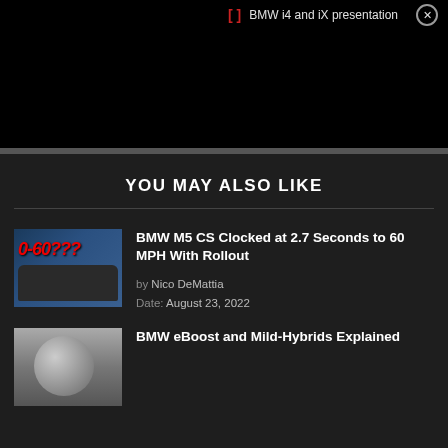[Figure (screenshot): Video player showing black screen with title bar: '[] BMW i4 and iX presentation' with a close (X) button]
YOU MAY ALSO LIKE
[Figure (photo): Thumbnail image of BMW M5 CS with '0-60???' text overlay in red]
BMW M5 CS Clocked at 2.7 Seconds to 60 MPH With Rollout
by Nico DeMattia
Date: August 23, 2022
[Figure (photo): Thumbnail image for BMW eBoost article showing shiny metallic car detail]
BMW eBoost and Mild-Hybrids Explained